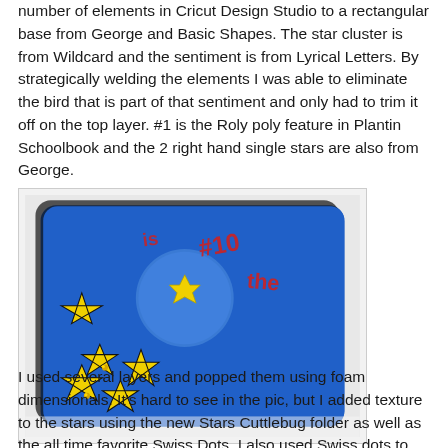number of elements in Cricut Design Studio to a rectangular base from George and Basic Shapes. The star cluster is from Wildcard and the sentiment is from Lyrical Letters. By strategically welding the elements I was able to eliminate the bird that is part of that sentiment and only had to trim it off on the top layer. #1 is the Roly poly feature in Plantin Schoolbook and the 2 right hand single stars are also from George.
[Figure (photo): A layered paper craft/scrapbook project on a blue background featuring yellow star cluster shapes, a circular blue element, and red letters/numbers. The piece has multiple layers popped with foam dimensionals, viewed at an angle on a white surface.]
I used several layers and popped them using foam dimensionals. It's hard to see in the pic, but I added texture to the stars using the new Stars Cuttlebug folder as well as the all time favorite Swiss Dots. I also used Swiss dots to